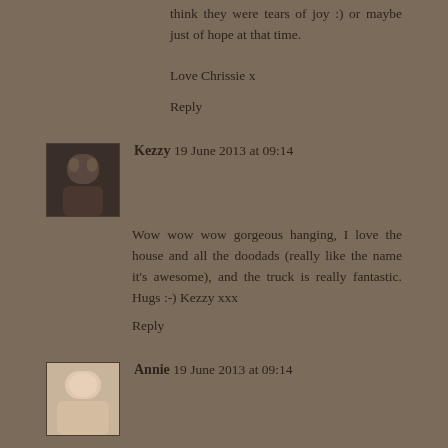think they were tears of joy :) or maybe just of hope at that time.
Love Chrissie x
Reply
Kezzy  19 June 2013 at 09:14
Wow wow wow gorgeous hanging, I love the house and all the doodads (really like the name it's awesome), and the truck is really fantastic. Hugs :-) Kezzy xxx
Reply
Annie  19 June 2013 at 09:14
Hi Alison love this project and I can see the Waltons within this make, particularly the house and pick up.
Happy blogiversary to you.
Have a great day